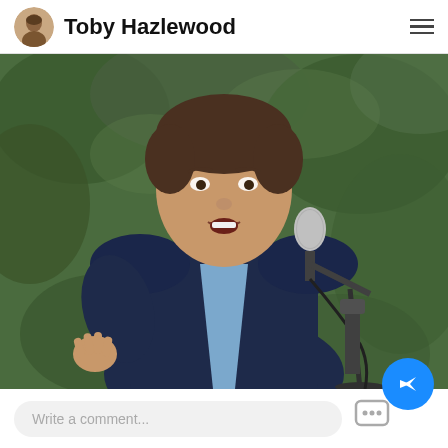Toby Hazlewood
[Figure (photo): A man in a dark navy suit and light blue dress shirt speaking at a microphone stand, gesturing with his right hand, with green foliage in the background.]
Write a comment...